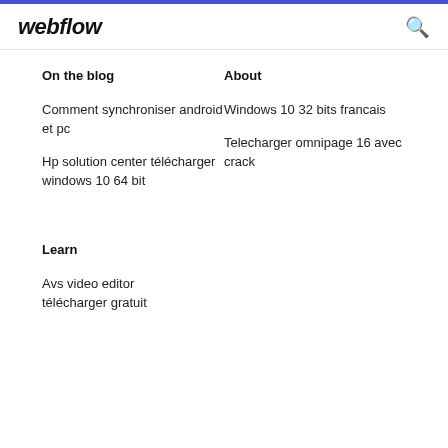webflow
On the blog
About
Comment synchroniser android et pc
Windows 10 32 bits francais
Hp solution center télécharger windows 10 64 bit
Telecharger omnipage 16 avec crack
Learn
Avs video editor télécharger gratuit